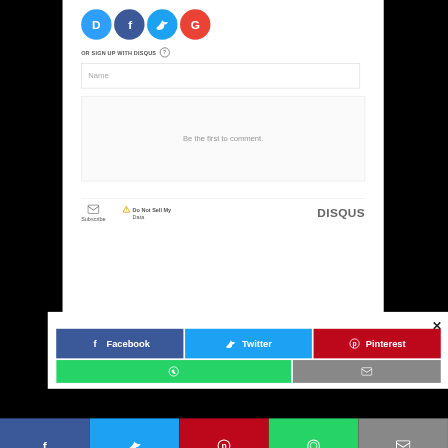[Figure (screenshot): Disqus comment widget showing social login icons (Disqus D, Facebook f, Twitter bird, Google G), 'OR SIGN UP WITH DISQUS' label, Name input field, comment area with 'Be the first to comment.' placeholder text, and footer with Subscribe, Do Not Sell My Data, and DISQUS branding]
[Figure (screenshot): Social share popup with close X button and share buttons: Facebook (dark blue), Twitter (cyan), Pinterest (dark red), WhatsApp (green), Email (gray)]
[Figure (screenshot): Bottom sticky social share bar with Facebook (dark blue), Twitter (cyan), Pinterest (red), WhatsApp (green), Email (gray) icon buttons]